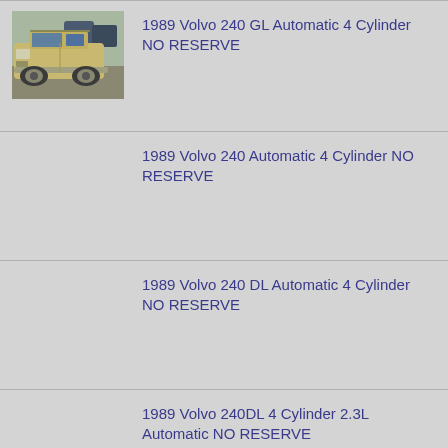[Figure (photo): Photo of a gold/beige 1989 Volvo 240 GL sedan, front three-quarter view in a parking lot]
1989 Volvo 240 GL Automatic 4 Cylinder NO RESERVE
1989 Volvo 240 Automatic 4 Cylinder NO RESERVE
1989 Volvo 240 DL Automatic 4 Cylinder NO RESERVE
1989 Volvo 240DL 4 Cylinder 2.3L Automatic NO RESERVE